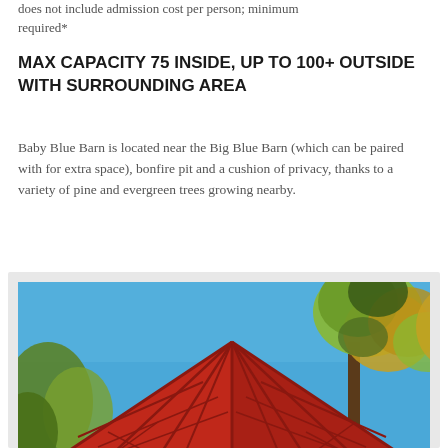does not include admission cost per person; minimum required*
MAX CAPACITY 75 INSIDE, UP TO 100+ OUTSIDE WITH SURROUNDING AREA
Baby Blue Barn is located near the Big Blue Barn (which can be paired with for extra space), bonfire pit and a cushion of privacy, thanks to a variety of pine and evergreen trees growing nearby.
[Figure (photo): Outdoor photo showing a red barn structure with a triangular truss roof framing against a bright blue sky, with pine and deciduous trees with autumn foliage visible around and above the barn.]